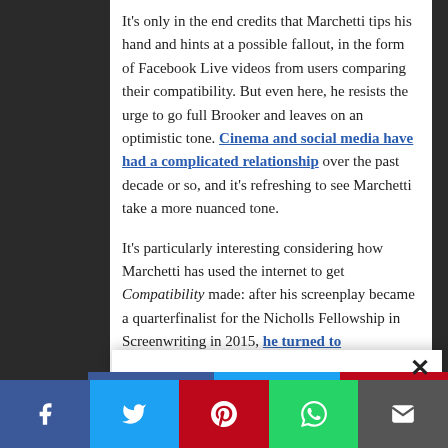It's only in the end credits that Marchetti tips his hand and hints at a possible fallout, in the form of Facebook Live videos from users comparing their compatibility. But even here, he resists the urge to go full Brooker and leaves on an optimistic tone. Cinema and social media have had a complicated relationship over the past decade or so, and it's refreshing to see Marchetti take a more nuanced tone.
It's particularly interesting considering how Marchetti has used the internet to get Compatibility made: after his screenplay became a quarterfinalist for the Nicholls Fellowship in Screenwriting in 2015, he turned to Kickstarter to raise the funds to make this
[Figure (screenshot): Social sharing popup with Facebook, Twitter, Pinterest buttons and a bottom navigation bar with Facebook, Twitter, Pinterest, WhatsApp, and Email share buttons]